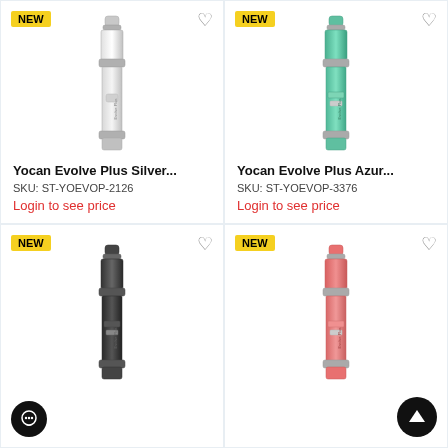[Figure (photo): Yocan Evolve Plus silver/chrome vape pen with NEW badge and heart icon]
Yocan Evolve Plus Silver...
SKU: ST-YOEVOP-2126
Login to see price
[Figure (photo): Yocan Evolve Plus azure/teal vape pen with NEW badge and heart icon]
Yocan Evolve Plus Azur...
SKU: ST-YOEVOP-3376
Login to see price
[Figure (photo): Yocan Evolve Plus black vape pen with NEW badge and heart icon]
[Figure (photo): Yocan Evolve Plus pink/coral vape pen with NEW badge and heart icon]